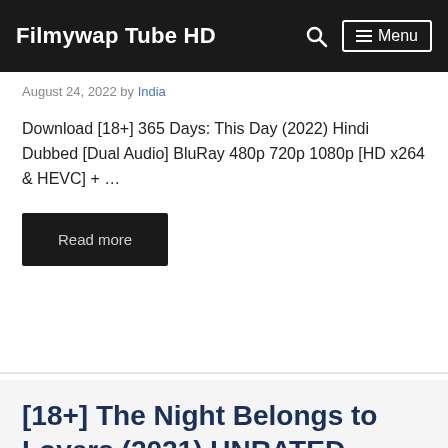Filmywap Tube HD   Menu
August 24, 2022 by India
Download [18+] 365 Days: This Day (2022) Hindi Dubbed [Dual Audio] BluRay 480p 720p 1080p [HD x264 & HEVC] + …
Read more
[18+] The Night Belongs to Lovers (2021) UNRATED …